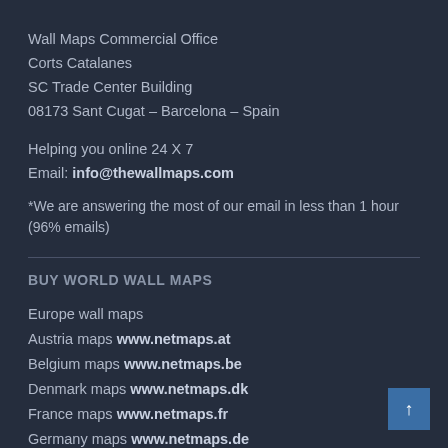Wall Maps Commercial Office
Corts Catalanes
SC Trade Center Building
08173 Sant Cugat – Barcelona – Spain
Helping you online 24 X 7
Email: info@thewallmaps.com
*We are answering the most of our email in less than 1 hour (96% emails)
BUY WORLD WALL MAPS
Europe wall maps
Austria maps www.netmaps.at
Belgium maps www.netmaps.be
Denmark maps www.netmaps.dk
France maps www.netmaps.fr
Germany maps www.netmaps.de
Italy maps www.netmaps.it